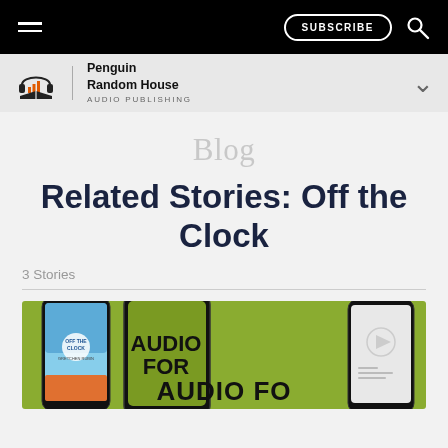SUBSCRIBE
[Figure (logo): Penguin Random House Audio Publishing logo with headphone icon]
Blog
Related Stories: Off the Clock
3 Stories
[Figure (photo): Smartphone mockups showing audiobook app on green background with text AUDIO FO[R]]